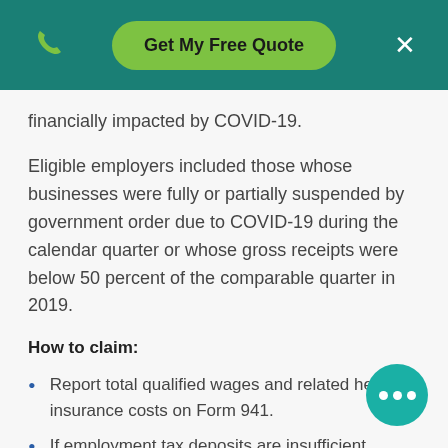Get My Free Quote
financially impacted by COVID-19.
Eligible employers included those whose businesses were fully or partially suspended by government order due to COVID-19 during the calendar quarter or whose gross receipts were below 50 percent of the comparable quarter in 2019.
How to claim:
Report total qualified wages and related health insurance costs on Form 941.
If employment tax deposits are insufficient, submit